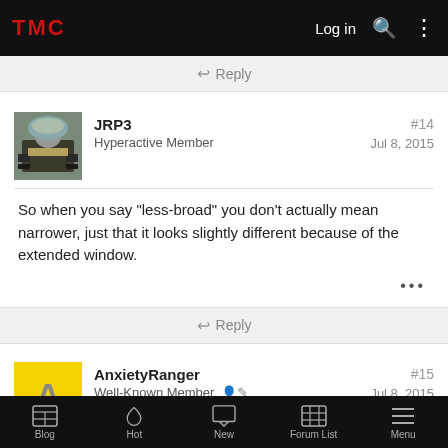TMC | Log in
↩ Reply
JRP3
Hyperactive Member
#14
Jul 8, 2015
So when you say "less-broad" you don't actually mean narrower, just that it looks slightly different because of the extended window.
↩ Reply
AnxietyRanger
Well-Known Member
#15
Jul 8, 2015
Blog | Hot | New | Forum List | Menu